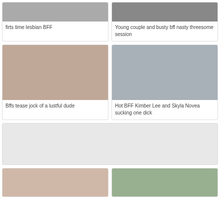[Figure (photo): Cropped top portion of first video thumbnail - firts time lesbian BFF]
firts time lesbian BFF
[Figure (photo): Cropped top portion of second video thumbnail - Young couple and busty bff nasty threesome session]
Young couple and busty bff nasty threesome session
[Figure (photo): Video thumbnail - Bffs tease jock of a lustful dude]
Bffs tease jock of a lustful dude
[Figure (photo): Video thumbnail - Hot BFF Kimber Lee and Skyla Novea sucking one dick]
Hot BFF Kimber Lee and Skyla Novea sucking one dick
[Figure (photo): Advertisement placeholder - gray box]
[Figure (photo): Video thumbnail bottom row left]
[Figure (photo): Video thumbnail bottom row right]